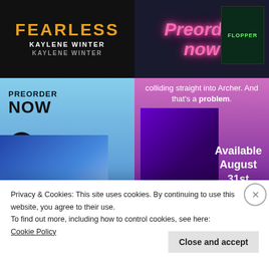[Figure (photo): Book cover for FEARLESS by Kaylene Winter - dark background with orange title text]
[Figure (photo): Preorder now neon sign in pink with book FLOPPER visible on right side - dark background]
[Figure (photo): Book preorder ad - PREORDER NOW 99 cents - man with abs and book covers for Tara Lamera]
[Figure (photo): Right column: text 'colliding straight into Archer. And that's a problem.' with book LUNATIC by Onley James cover on tablet, Available August 31st]
Privacy & Cookies: This site uses cookies. By continuing to use this website, you agree to their use.
To find out more, including how to control cookies, see here:
Cookie Policy
Close and accept
[Figure (photo): WordPress hosting banner - WORDPRESS HOSTING THAT MEANS BUSINESS. with OPEN sign image]